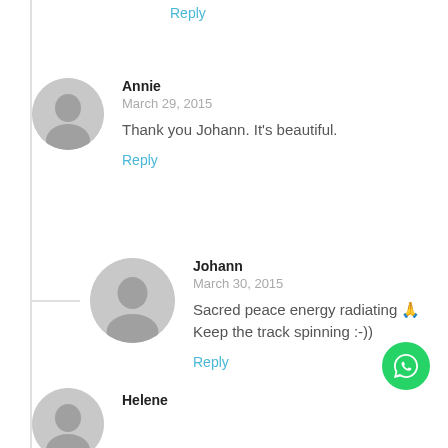Reply
Annie
March 29, 2015
Thank you Johann. It's beautiful.
Reply
Johann
March 30, 2015
Sacred peace energy radiating 🙏 Keep the track spinning :-))
Reply
Helene
[Figure (illustration): WhatsApp floating action button (green circle with phone icon)]